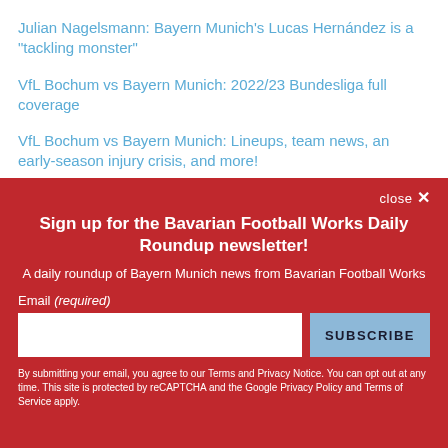Julian Nagelsmann: Bayern Munich’s Lucas Hernández is a “tackling monster”
VfL Bochum vs Bayern Munich: 2022/23 Bundesliga full coverage
VfL Bochum vs Bayern Munich: Lineups, team news, an early-season injury crisis, and more!
Daily Schmankerl: Bayern Munich vs Boro...
close ×
Sign up for the Bavarian Football Works Daily Roundup newsletter!
A daily roundup of Bayern Munich news from Bavarian Football Works
Email (required)
SUBSCRIBE
By submitting your email, you agree to our Terms and Privacy Notice. You can opt out at any time. This site is protected by reCAPTCHA and the Google Privacy Policy and Terms of Service apply.